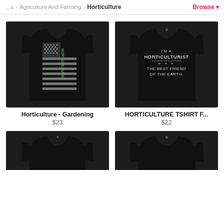Agriculture And Farming > Horticulture  Browse
[Figure (photo): Black t-shirt showing back with distressed American flag and vertical text 'HORTICULTURE' in green letters]
Horticulture - Gardening
$23
[Figure (photo): Black t-shirt with text 'I'M A HORTICULTURIST THE BEST FRIEND OF THE EARTH.' in white letters]
HORTICULTURE TSHIRT F...
$22
[Figure (photo): Partial view of another black t-shirt at bottom left]
[Figure (photo): Partial view of another black t-shirt at bottom right]